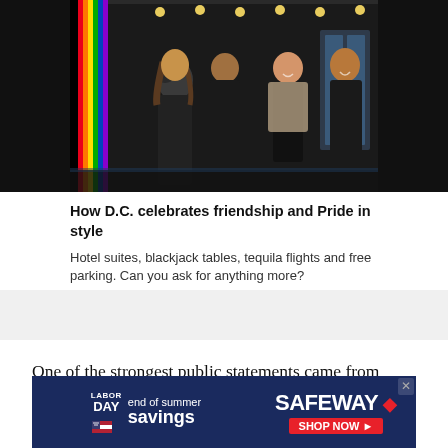[Figure (photo): Group of four people walking and smiling in front of a venue entrance with lights and rainbow decoration visible on the left side]
How D.C. celebrates friendship and Pride in style
Hotel suites, blackjack tables, tequila flights and free parking. Can you ask for anything more?
One of the strongest public statements came from Britain, which lost 10 citizens aboard the flight. A statement released by Prime Minister David Cameron’s office said “it is increasingly likely that [the Malaysian airliner] was
[Figure (other): Advertisement banner for Safeway Labor Day end of summer savings promotion with Shop Now button]